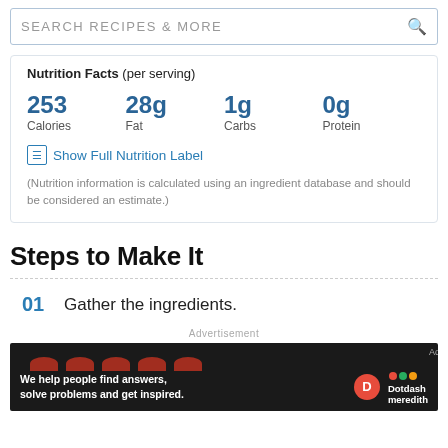SEARCH RECIPES & MORE
| Calories | Fat | Carbs | Protein |
| --- | --- | --- | --- |
| 253 | 28g | 1g | 0g |
Show Full Nutrition Label
(Nutrition information is calculated using an ingredient database and should be considered an estimate.)
Steps to Make It
01 Gather the ingredients.
[Figure (photo): Advertisement banner: dark background with red dome shapes, Dotdash Meredith branding. Text reads 'We help people find answers, solve problems and get inspired.']